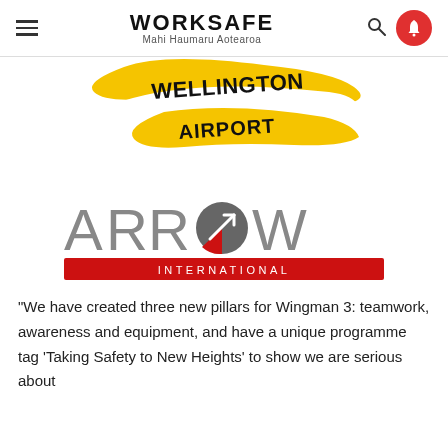WORKSAFE Mahi Haumaru Aotearoa
[Figure (logo): Wellington Airport logo — yellow brushstroke banner with bold black text 'WELLINGTON AIRPORT']
[Figure (logo): Arrow International logo — grey text 'ARROW' with a circle/arrow graphic in grey and red, red banner below reading 'INTERNATIONAL']
“We have created three new pillars for Wingman 3: teamwork, awareness and equipment, and have a unique programme tag ‘Taking Safety to New Heights’ to show we are serious about